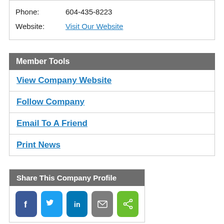Phone: 604-435-8223
Website: Visit Our Website
Member Tools
View Company Website
Follow Company
Email To A Friend
Print News
Share This Company Profile
[Figure (infographic): Social share buttons: Facebook, Twitter, LinkedIn, Email, Share]